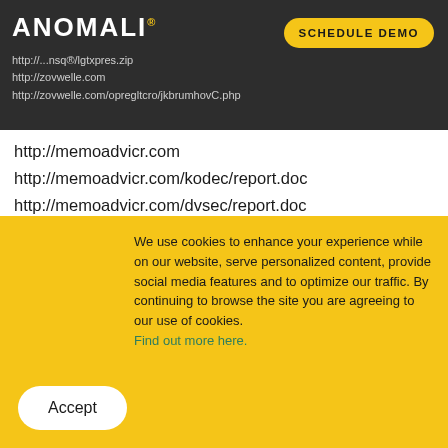Anomali logo | SCHEDULE DEMO button
http://...nsq.../lgtxpres.zip
http://zovwelle.com
http://zovwelle.com/opregltcro/jkbrumhovC.php
http://memoadvicr.com
http://memoadvicr.com/kodec/report.doc
http://memoadvicr.com/dvsec/report.doc
http://fastfiterzone.com/sdjfbjsgdlfvfd/gfdbvgfggg...
EXEs
04e05054e9e4f1c6cba9292fcad9e06f
We use cookies to enhance your experience while on our website, serve personalized content, provide social media features and to optimize our traffic. By continuing to browse the site you are agreeing to our use of cookies. Find out more here.
Accept